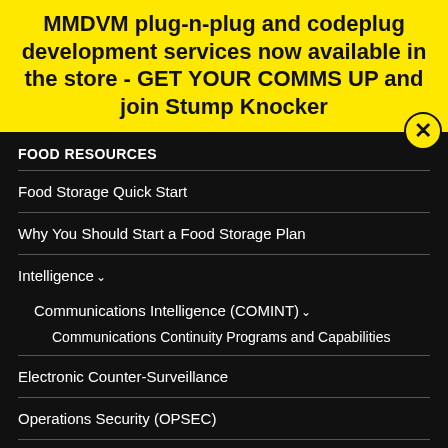MMDVM plug-n-plug and codeplug development services now available in the store - GET YOUR COMMS UP and join Stump Knocker
FOOD RESOURCES
Food Storage Quick Start
Why You Should Start a Food Storage Plan
Intelligence
Communications Intelligence (COMINT)
Communications Continuity Programs and Capabilities
Electronic Counter-Surveillance
Operations Security (OPSEC)
Signals Intelligence – Information Gathering Basics